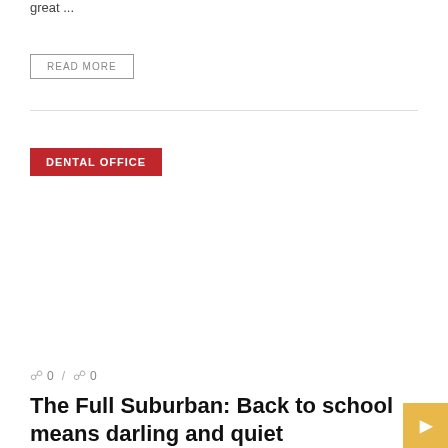great ...
READ MORE
DENTAL OFFICE
0 / 0
The Full Suburban: Back to school means darling and quiet uninterrupted time